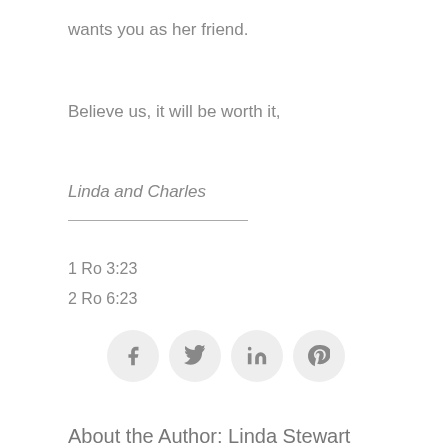wants you as her friend.
Believe us, it will be worth it,
Linda and Charles
1 Ro 3:23
2 Ro 6:23
[Figure (other): Social media icons: Facebook, Twitter, LinkedIn, Pinterest]
About the Author: Linda Stewart